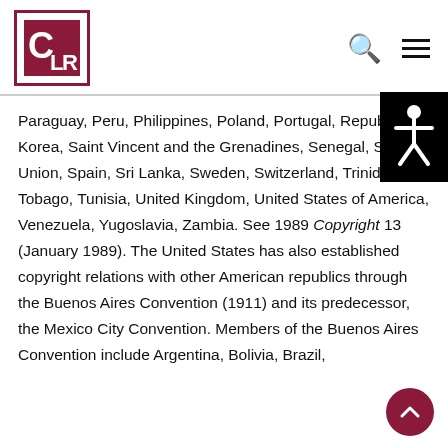CLR logo, search icon, hamburger menu
Paraguay, Peru, Philippines, Poland, Portugal, Republic of Korea, Saint Vincent and the Grenadines, Senegal, Soviet Union, Spain, Sri Lanka, Sweden, Switzerland, Trinidad and Tobago, Tunisia, United Kingdom, United States of America, Venezuela, Yugoslavia, Zambia. See 1989 Copyright 13 (January 1989). The United States has also established copyright relations with other American republics through the Buenos Aires Convention (1911) and its predecessor, the Mexico City Convention. Members of the Buenos Aires Convention include Argentina, Bolivia, Brazil,